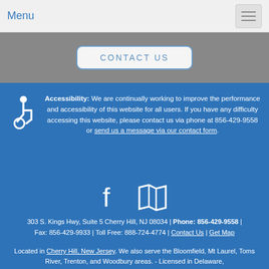Menu
CONTACT US
Accessibility: We are continually working to improve the performance and accessibility of this website for all users. If you have any difficulty accessing this website, please contact us via phone at 856-429-9558 or send us a message via our contact form.
[Figure (illustration): Facebook and map social/location icons in white on blue background]
303 S. Kings Hwy, Suite 5 Cherry Hill, NJ 08034 | Phone: 856-429-9558 | Fax: 856-429-9933 | Toll Free: 888-724-4774 | Contact Us | Get Map
Located in Cherry Hill, New Jersey. We also serve the Bloomfield, Mt Laurel, Toms River, Trenton, and Woodbury areas. - Licensed in Delaware,